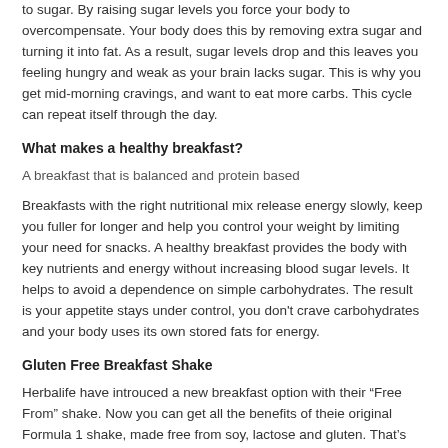to sugar. By raising sugar levels you force your body to overcompensate. Your body does this by removing extra sugar and turning it into fat. As a result, sugar levels drop and this leaves you feeling hungry and weak as your brain lacks sugar. This is why you get mid-morning cravings, and want to eat more carbs. This cycle can repeat itself through the day.
What makes a healthy breakfast?
A breakfast that is balanced and protein based
Breakfasts with the right nutritional mix release energy slowly, keep you fuller for longer and help you control your weight by limiting your need for snacks. A healthy breakfast provides the body with key nutrients and energy without increasing blood sugar levels. It helps to avoid a dependence on simple carbohydrates. The result is your appetite stays under control, you don’t crave carbohydrates and your body uses its own stored fats for energy.
Gluten Free Breakfast Shake
Herbalife have introuced a new breakfast option with their “Free From” shake. Now you can get all the benefits of theie original Formula 1 shake, made free from soy, lactose and gluten. That’s the goodness of 22